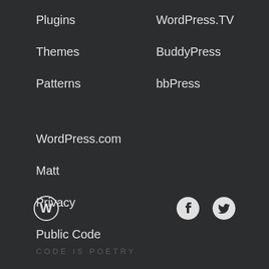Plugins
Themes
Patterns
WordPress.TV
BuddyPress
bbPress
WordPress.com
Matt
Privacy
Public Code
[Figure (logo): WordPress logo — circular W icon in white with circle border]
[Figure (logo): Facebook logo icon in white]
[Figure (logo): Twitter bird logo icon in white]
CODE IS POETRY